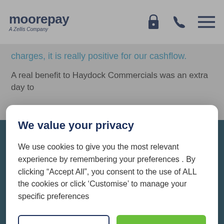moorepay A Zellis Company
charges, it is really positive for our cashflow.
A real benefit to Haydock Commercials was an extra day to
We value your privacy
We use cookies to give you the most relevant experience by remembering your preferences . By clicking “Accept All”, you consent to the use of ALL the cookies or click ‘Customise’ to manage your specific preferences
Customise
Accept All
the only one able to offer Faster Payments. No one else could do it. This gave them a significant advantage over their competitors.